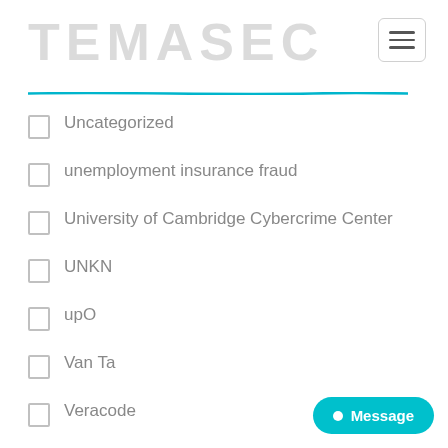TEMASEC
Uncategorized
unemployment insurance fraud
University of Cambridge Cybercrime Center
UNKN
upO
Van Ta
Veracode
Vincent Cannon
Vivalamuerte